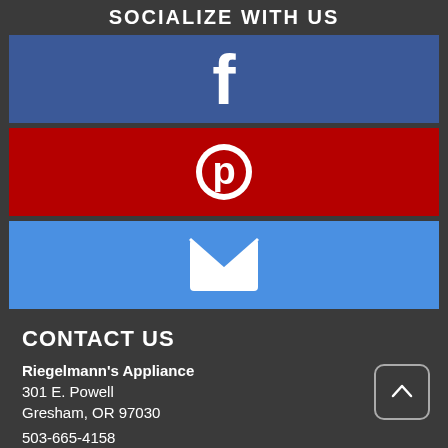SOCIALIZE WITH US
[Figure (illustration): Facebook logo icon (white 'f' on blue background bar)]
[Figure (illustration): Pinterest logo icon (white 'P' circle on red background bar)]
[Figure (illustration): Email envelope icon (white envelope on blue background bar)]
CONTACT US
Riegelmann's Appliance
301 E. Powell
Gresham, OR 97030
503-665-4158
noah@riegelmanns.com